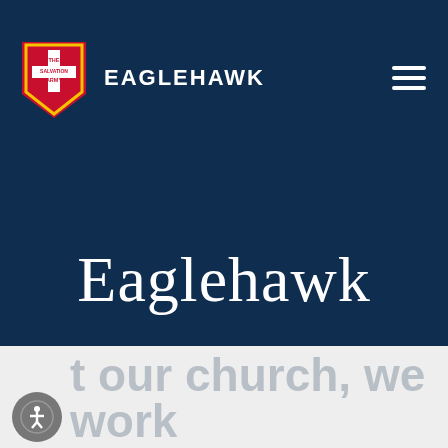EAGLEHAWK
Eaglehawk
At our church, we work